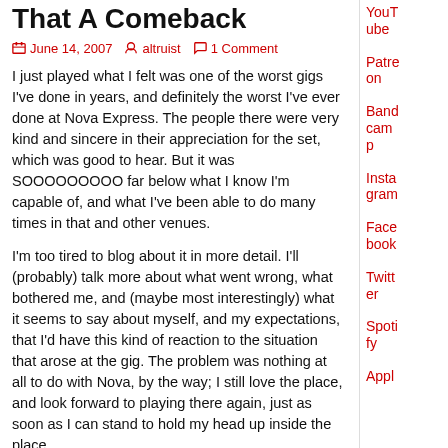That A Comeback
June 14, 2007   altruist   1 Comment
I just played what I felt was one of the worst gigs I've done in years, and definitely the worst I've ever done at Nova Express. The people there were very kind and sincere in their appreciation for the set, which was good to hear. But it was SOOOOOOOOO far below what I know I'm capable of, and what I've been able to do many times in that and other venues.
I'm too tired to blog about it in more detail. I'll (probably) talk more about what went wrong, what bothered me, and (maybe most interestingly) what it seems to say about myself, and my expectations, that I'd have this kind of reaction to the situation that arose at the gig. The problem was nothing at all to do with Nova, by the way; I still love the place, and look forward to playing there again, just as soon as I can stand to hold my head up inside the place.
Momma told me there'd be days like this. She also told me that creative people always struggle with the disparity between what they want to achieve and what they...
YouTube
Patreon
Bandcamp
Instagram
Facebook
Twitter
Spotify
ApplI